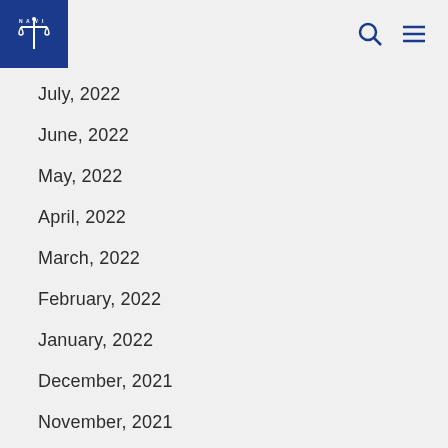NAWI logo with search and menu icons
July, 2022
June, 2022
May, 2022
April, 2022
March, 2022
February, 2022
January, 2022
December, 2021
November, 2021